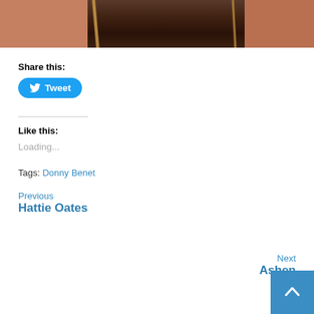[Figure (photo): Cropped photo showing a person's chest/neck area with a gold chain necklace, dark brown background]
Share this:
[Figure (other): Twitter Tweet button — blue rounded rectangle with Twitter bird icon and 'Tweet' text]
Like this:
Loading...
Tags: Donny Benet
Previous
Hattie Oates
Next
Ashen